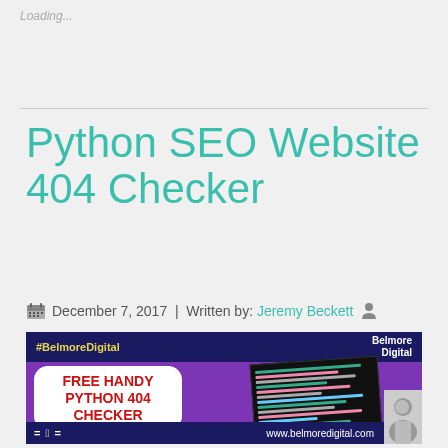Loading...
Python SEO Website 404 Checker
December 7, 2017  |  Written by: Jeremy Beckett
[Figure (illustration): Promotional banner for Belmore Digital's free Python 404 Checker tool. Dark navy top bar with '#BelmoreDigital' in yellow and 'Belmore Digital' logo in white on the right. Purple background with a white rounded badge reading 'FREE HANDY PYTHON 404 CHECKER' in red bold text on the left. Code screenshot on the right. Dark navy footer with BD logo on left and 'www.belmoredigital.com' URL in center, person headshot in bottom right corner.]